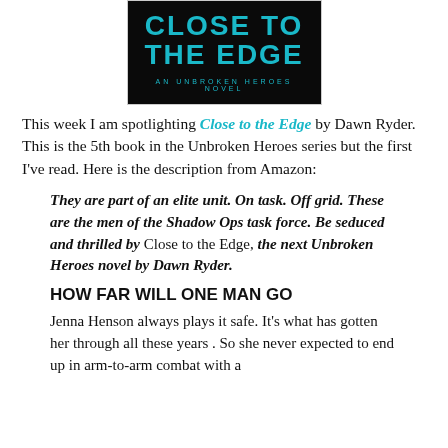[Figure (illustration): Book cover for 'Close to the Edge' - An Unbroken Heroes Novel, with teal/cyan text on dark background]
This week I am spotlighting Close to the Edge by Dawn Ryder. This is the 5th book in the Unbroken Heroes series but the first I've read. Here is the description from Amazon:
They are part of an elite unit. On task. Off grid. These are the men of the Shadow Ops task force. Be seduced and thrilled by Close to the Edge, the next Unbroken Heroes novel by Dawn Ryder.
HOW FAR WILL ONE MAN GO
Jenna Henson always plays it safe. It's what has gotten her through all these years . So she never expected to end up in arm-to-arm combat with a